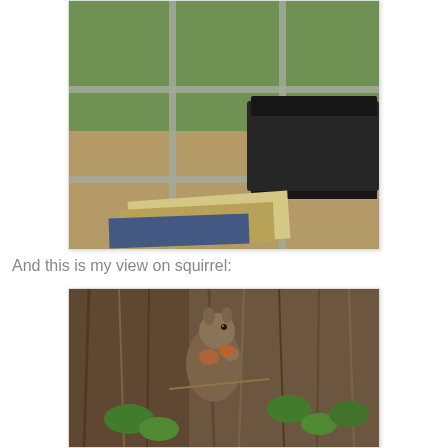[Figure (photo): View through a window with grid panes showing trees and outdoor scenery; a black printer sits on a desk in the foreground with papers/documents underneath it.]
And this is my view on squirrel:
[Figure (photo): A squirrel clinging to the bark of a large tree, with green leaves visible around it.]